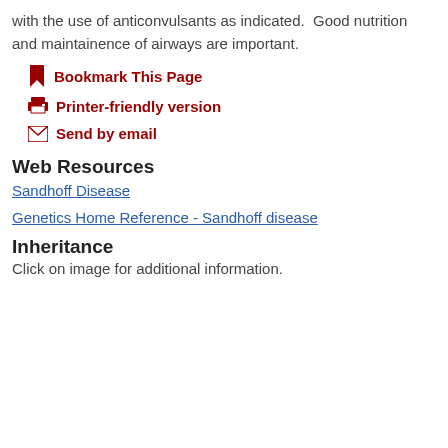with the use of anticonvulsants as indicated.  Good nutrition and maintainence of airways are important.
Bookmark This Page
Printer-friendly version
Send by email
Web Resources
Sandhoff Disease
Genetics Home Reference - Sandhoff disease
Inheritance
Click on image for additional information.